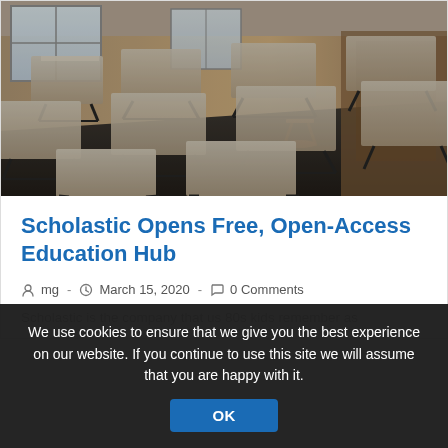[Figure (photo): Empty classroom with rows of desks and chairs, dark flooring, wooden accents, natural light from windows]
Scholastic Opens Free, Open-Access Education Hub
mg  -  March 15, 2020  -  0 Comments
Scholastic is the company that us 80s kids remember as
We use cookies to ensure that we give you the best experience on our website. If you continue to use this site we will assume that you are happy with it.